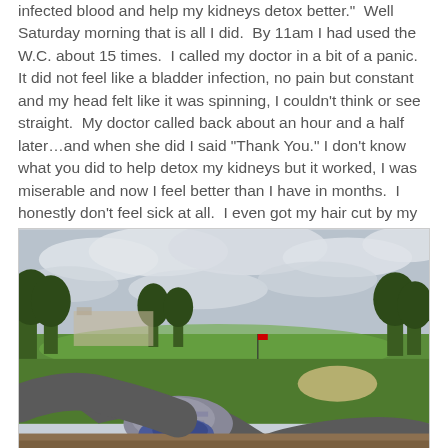infected blood and help my kidneys detox better."  Well Saturday morning that is all I did.  By 11am I had used the W.C. about 15 times.  I called my doctor in a bit of a panic.  It did not feel like a bladder infection, no pain but constant and my head felt like it was spinning, I couldn't think or see straight.  My doctor called back about an hour and a half later…and when she did I said "Thank You." I don't know what you did to help detox my kidneys but it worked, I was miserable and now I feel better than I have in months.  I honestly don't feel sick at all.  I even got my hair cut by my assistant sitting outside.  Without counting the minutes til it was done.
[Figure (photo): Outdoor photo taken from a reclining position showing legs/feet in the foreground, a golf course green with trees and a cloudy sky in the background.]